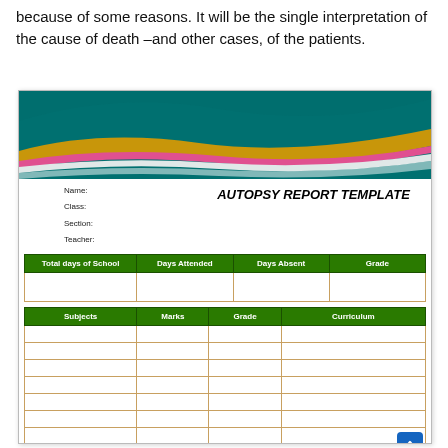because of some reasons. It will be the single interpretation of the cause of death –and other cases, of the patients.
[Figure (other): Autopsy Report Template card with decorative teal/gold/pink banner header, fields for Name, Class, Section, Teacher, bold italic title 'AUTOPSY REPORT TEMPLATE', and two tables: one with headers Total days of School, Days Attended, Days Absent, Grade; and another with headers Subjects, Marks, Grade, Curriculum with multiple empty data rows.]
| Total days of School | Days Attended | Days Absent | Grade |
| --- | --- | --- | --- |
|  |  |  |  |
| Subjects | Marks | Grade | Curriculum |
| --- | --- | --- | --- |
|  |  |  |  |
|  |  |  |  |
|  |  |  |  |
|  |  |  |  |
|  |  |  |  |
|  |  |  |  |
|  |  |  |  |
|  |  |  |  |